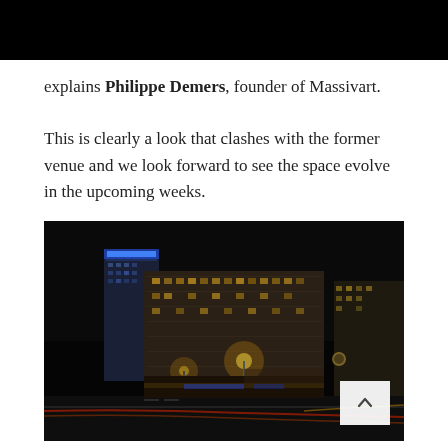[Figure (photo): Black bar at top of page]
explains Philippe Demers, founder of Massivart.
This is clearly a look that clashes with the former venue and we look forward to see the space evolve in the upcoming weeks.
[Figure (photo): Night cityscape photograph showing urban buildings lit up at night with street lights, light trails from traffic, and a tall glass tower with blue accent lighting on the left.]